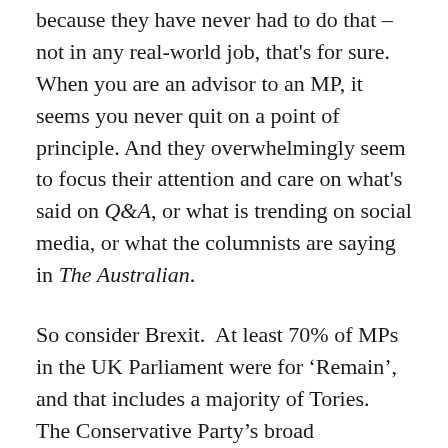because they have never had to do that – not in any real-world job, that's for sure.  When you are an advisor to an MP, it seems you never quit on a point of principle. And they overwhelmingly seem to focus their attention and care on what's said on Q&A, or what is trending on social media, or what the columnists are saying in The Australian.
So consider Brexit.  At least 70% of MPs in the UK Parliament were for 'Remain', and that includes a majority of Tories.  The Conservative Party's broad membership was over two-thirds for 'Leave'. Same goes for the media class, which was massively for staying – and that includes a legion of Tory commentators like The Spectator's Matthew Parris, who welcomed the chance